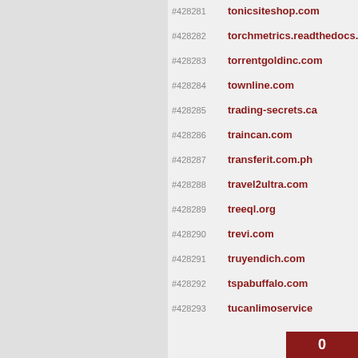#428281  tonicsiteshop.com
#428282  torchmetrics.readthedocs.
#428283  torrentgoldinc.com
#428284  townline.com
#428285  trading-secrets.ca
#428286  traincan.com
#428287  transferit.com.ph
#428288  travel2ultra.com
#428289  treeql.org
#428290  trevi.com
#428291  truyendich.com
#428292  tspabuffalo.com
#428293  tucanlimoservice